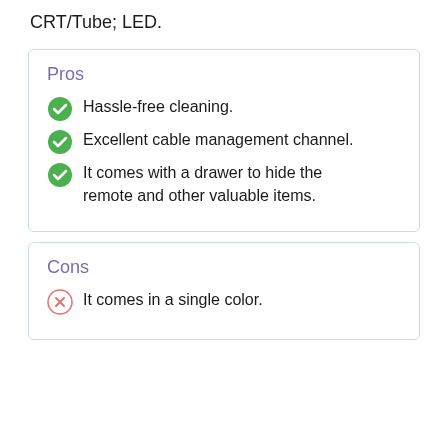CRT/Tube; LED.
Pros
Hassle-free cleaning.
Excellent cable management channel.
It comes with a drawer to hide the remote and other valuable items.
Cons
It comes in a single color.